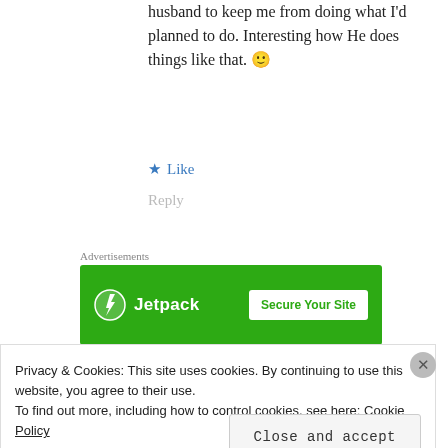husband to keep me from doing what I'd planned to do. Interesting how He does things like that. 🙂
★ Like
Reply
Advertisements
[Figure (screenshot): Jetpack advertisement banner with green background. Left side shows Jetpack logo (lightning bolt icon) and brand name 'Jetpack'. Right side shows white button with text 'Secure Your Site'.]
Anna Smit says:
Privacy & Cookies: This site uses cookies. By continuing to use this website, you agree to their use.
To find out more, including how to control cookies, see here: Cookie Policy
Close and accept